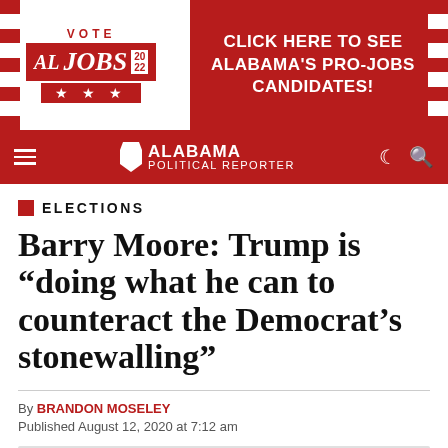[Figure (infographic): Banner advertisement for AL Jobs 2022 with red background, stars, and text: VOTE AL JOBS 2022 / CLICK HERE TO SEE ALABAMA'S PRO-JOBS CANDIDATES!]
ALABAMA POLITICAL REPORTER
ELECTIONS
Barry Moore: Trump is “doing what he can to counteract the Democrat’s stonewalling”
By BRANDON MOSELEY
Published August 12, 2020 at 7:12 am